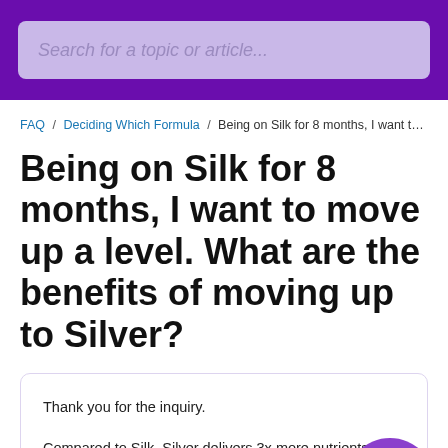Search for a topic or article...
FAQ / Deciding Which Formula / Being on Silk for 8 months, I want to move up a level. What are the benefits of moving...
Being on Silk for 8 months, I want to move up a level. What are the benefits of moving up to Silver?
Thank you for the inquiry.

Compared to Silk, Silver delivers 3x more nutrients to the atrophied tissue. The trade-off is that if a woman is...